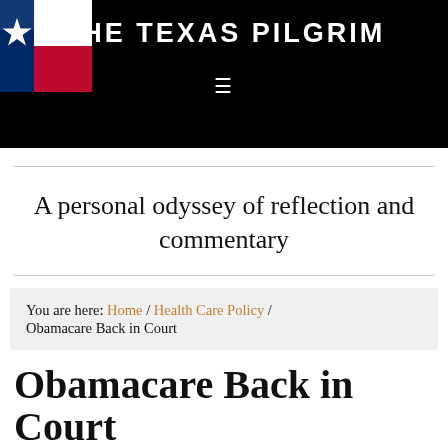THE TEXAS PILGRIM
[Figure (logo): Texas flag logo in top-left corner of header]
A personal odyssey of reflection and commentary
You are here: Home / Health Care Policy / Obamacare Back in Court
Obamacare Back in Court